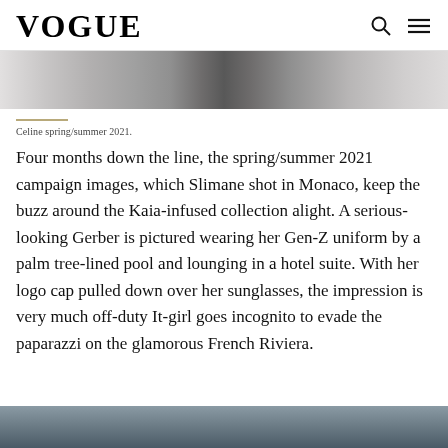VOGUE
[Figure (photo): Top portion of a black and white fashion photograph, showing a partial figure]
Celine spring/summer 2021.
Four months down the line, the spring/summer 2021 campaign images, which Slimane shot in Monaco, keep the buzz around the Kaia-infused collection alight. A serious-looking Gerber is pictured wearing her Gen-Z uniform by a palm tree-lined pool and lounging in a hotel suite. With her logo cap pulled down over her sunglasses, the impression is very much off-duty It-girl goes incognito to evade the paparazzi on the glamorous French Riviera.
[Figure (photo): Bottom portion of a color fashion photograph, partially visible at the bottom of the page]